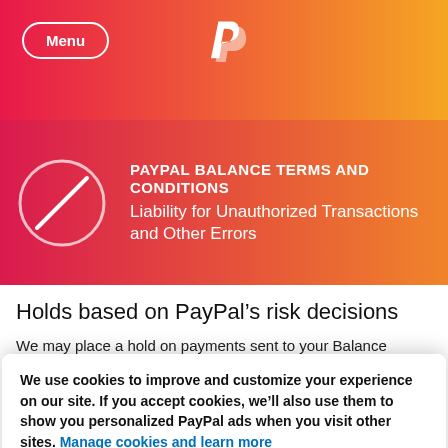Menu | PayPal
PAYPAL BALANCE TERMS AND CONDITIONS
Liability for Unauthorized Transactions and Other Errors
Holds based on PayPal’s risk decisions
We may place a hold on payments sent to your Balance Account if, in our sole discretion, we believe that there may
We use cookies to improve and customize your experience on our site. If you accept cookies, we’ll also use them to show you personalized PayPal ads when you visit other sites. Manage cookies and learn more
payment, the funds will appear in your Balance Account with